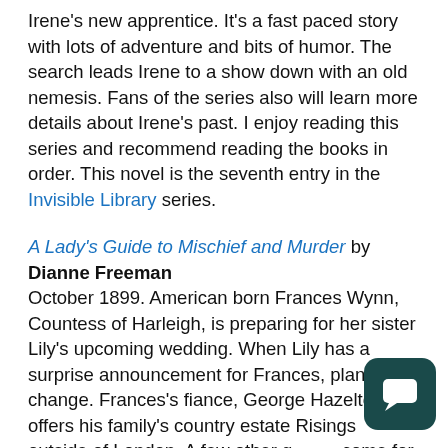Irene's new apprentice. It's a fast paced story with lots of adventure and bits of humor. The search leads Irene to a show down with an old nemesis. Fans of the series also will learn more details about Irene's past. I enjoy reading this series and recommend reading the books in order. This novel is the seventh entry in the Invisible Library series.
A Lady's Guide to Mischief and Murder by Dianne Freeman
October 1899. American born Frances Wynn, Countess of Harleigh, is preparing for her sister Lily's upcoming wedding. When Lily has a surprise announcement for Frances, plans change. Frances's fiance, George Hazelton, offers his family's country estate Risings outside of London. A few other g[uests] come for a country shooting party as the reaso[n]. When mishaps for guests and staff become more serious, Frances and George must discover who's